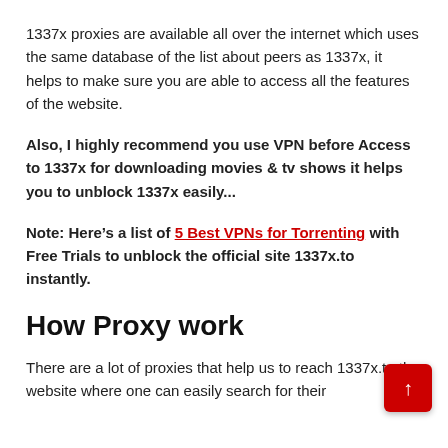1337x proxies are available all over the internet which uses the same database of the list about peers as 1337x, it helps to make sure you are able to access all the features of the website.
Also, I highly recommend you use VPN before Access to 1337x for downloading movies & tv shows it helps you to unblock 1337x easily...
Note: Here’s a list of 5 Best VPNs for Torrenting with Free Trials to unblock the official site 1337x.to instantly.
How Proxy work
There are a lot of proxies that help us to reach 1337x.to the website where one can easily search for their